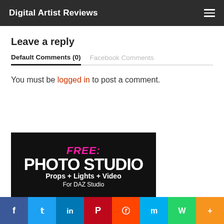Digital Artist Reviews
Leave a reply
Default Comments (0)   Facebook Comments
You must be logged in to post a comment.
[Figure (illustration): Advertisement banner: FREE: PHOTO STUDIO Props + Lights + Video For DAZ Studio with dark background and person silhouette]
Social share bar: Facebook, Twitter, LinkedIn, Pinterest, Reddit, Mix, WhatsApp, More